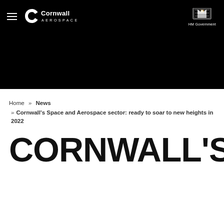Cornwall Aerospace | HM Government
[Figure (screenshot): Black header banner with Cornwall Aerospace logo on the left (hamburger menu, C logo mark, Cornwall Aerospace text) and HM Government crest logo on the right]
Home » News
» Cornwall's Space and Aerospace sector: ready to soar to new heights in 2022
CORNWALL'S